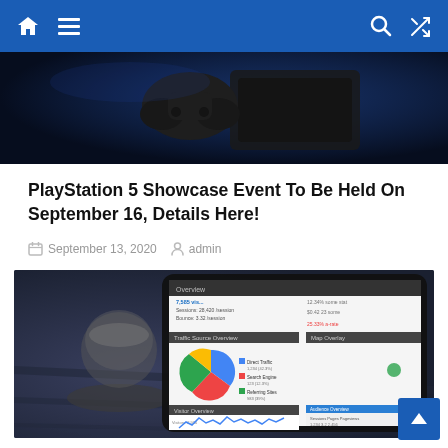Navigation bar with home, menu, search, and shuffle icons
[Figure (photo): PlayStation 5 console and controller on a dark blue background, partial view showing the top portion]
PlayStation 5 Showcase Event To Be Held On September 16, Details Here!
September 13, 2020  admin
[Figure (photo): A tablet displaying an analytics dashboard with pie chart and line graph, next to a coffee cup on a wooden table]